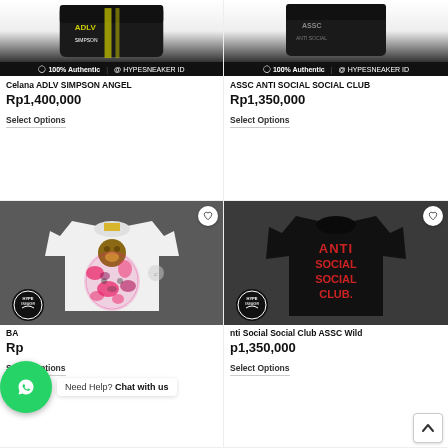[Figure (photo): Product photo of ADLV Simpson Angel shorts (dark) with text/logo, top left]
[Figure (photo): Product photo of ASSC Anti Social Social Club item (dark), top right]
100% Authentic | @ HYPESNEAKER ID
100% Authentic | @ HYPESNEAKER ID
Celana ADLV SIMPSON ANGEL
Rp1,400,000
Select Options
ASSC ANTI SOCIAL SOCIAL CLUB
Rp1,350,000
Select Options
[Figure (photo): BAPE white t-shirt with Baby Milo and pink camo ape head graphic, on grey background with HYPE SNEAKER badge]
[Figure (photo): Anti Social Social Club black t-shirt with red ANTI SOCIAL SOCIAL CLUB text on back, on grey background with HYPE SNEAKER badge]
BA... (BAPE product name truncated)
Rp... (price truncated)
Select Options
nti Social Social Club ASSC Wild
p1,350,000
Select Options
Need Help? Chat with us